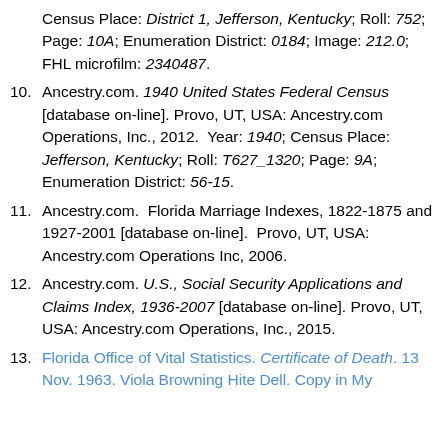Census Place: District 1, Jefferson, Kentucky; Roll: 752; Page: 10A; Enumeration District: 0184; Image: 212.0; FHL microfilm: 2340487.
10. Ancestry.com. 1940 United States Federal Census [database on-line]. Provo, UT, USA: Ancestry.com Operations, Inc., 2012. Year: 1940; Census Place: Jefferson, Kentucky; Roll: T627_1320; Page: 9A; Enumeration District: 56-15.
11. Ancestry.com. Florida Marriage Indexes, 1822-1875 and 1927-2001 [database on-line]. Provo, UT, USA: Ancestry.com Operations Inc, 2006.
12. Ancestry.com. U.S., Social Security Applications and Claims Index, 1936-2007 [database on-line]. Provo, UT, USA: Ancestry.com Operations, Inc., 2015.
13. Florida Office of Vital Statistics. Certificate of Death. 13 Nov. 1963. Viola Browning Hite Dell. Copy in My